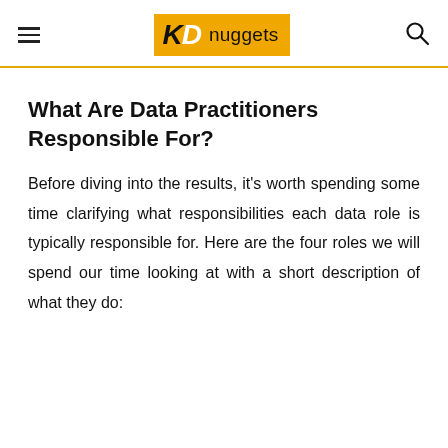KDnuggets
What Are Data Practitioners Responsible For?
Before diving into the results, it's worth spending some time clarifying what responsibilities each data role is typically responsible for. Here are the four roles we will spend our time looking at with a short description of what they do: